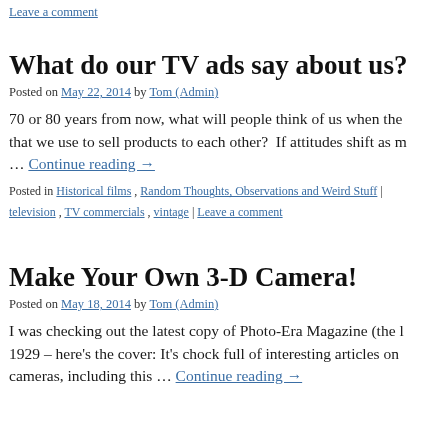Leave a comment
What do our TV ads say about us?
Posted on May 22, 2014 by Tom (Admin)
70 or 80 years from now, what will people think of us when they… that we use to sell products to each other? If attitudes shift as m… Continue reading →
Posted in Historical films, Random Thoughts, Observations and Weird Stuff | television, TV commercials, vintage | Leave a comment
Make Your Own 3-D Camera!
Posted on May 18, 2014 by Tom (Admin)
I was checking out the latest copy of Photo-Era Magazine (the l… 1929 – here's the cover: It's chock full of interesting articles on cameras, including this … Continue reading →